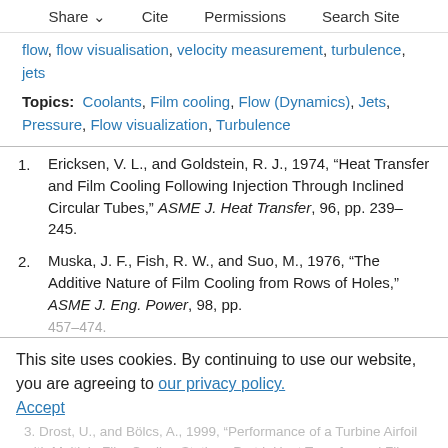Share   Cite   Permissions   Search Site
flow, flow visualisation, velocity measurement, turbulence, jets
Topics:  Coolants, Film cooling, Flow (Dynamics), Jets, Pressure, Flow visualization, Turbulence
1. Ericksen, V. L., and Goldstein, R. J., 1974, “Heat Transfer and Film Cooling Following Injection Through Inclined Circular Tubes,” ASME J. Heat Transfer, 96, pp. 239–245.
2. Muska, J. F., Fish, R. W., and Suo, M., 1976, “The Additive Nature of Film Cooling from Rows of Holes,” ASME J. Eng. Power, 98, pp. 457–474.
This site uses cookies. By continuing to use our website, you are agreeing to our privacy policy. Accept
3. Drost, U., and Bölcs, A., 1999, “Performance of a Turbine Airfoil with Multiple Film Cooling Stations Part I: Heat Transfer and Film...